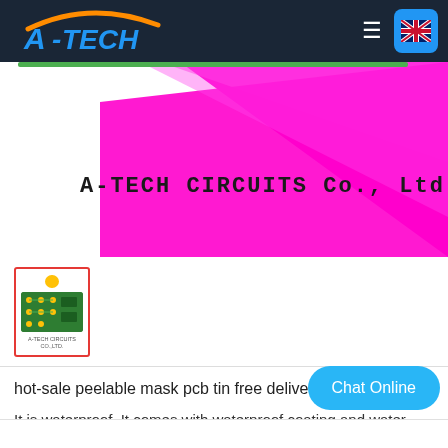[Figure (logo): A-TECH company logo with orange arc and blue text on dark navy header bar with hamburger menu and UK flag button]
[Figure (illustration): Banner with magenta/pink diagonal triangle design and company name 'A-TECH CIRCUITS Co., Ltd.' in large monospace bold text]
[Figure (photo): Product thumbnail showing green PCB board with yellow icon, in red-bordered frame]
hot-sale peelable mask pcb tin free delivery at discount
It is waterproof. It comes with waterproof coating and water-repellent coating that keep moisture from seeping through.
Chat Online